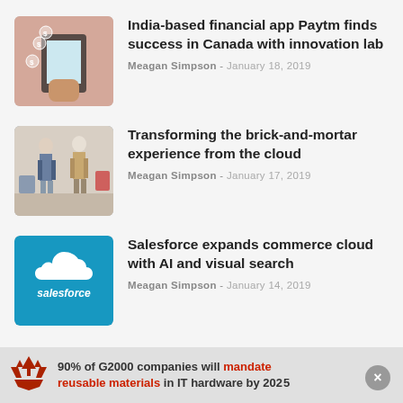[Figure (photo): Person holding a smartphone with digital financial app icons floating above it]
India-based financial app Paytm finds success in Canada with innovation lab
Meagan Simpson - January 18, 2019
[Figure (photo): Retail store with mannequins dressed in fashion clothing]
Transforming the brick-and-mortar experience from the cloud
Meagan Simpson - January 17, 2019
[Figure (logo): Salesforce logo — white cloud shape with 'salesforce' text on blue background]
Salesforce expands commerce cloud with AI and visual search
Meagan Simpson - January 14, 2019
90% of G2000 companies will mandate reusable materials in IT hardware by 2025